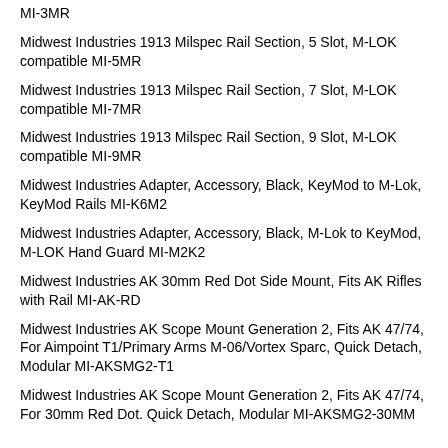MI-3MR
Midwest Industries 1913 Milspec Rail Section, 5 Slot, M-LOK compatible MI-5MR
Midwest Industries 1913 Milspec Rail Section, 7 Slot, M-LOK compatible MI-7MR
Midwest Industries 1913 Milspec Rail Section, 9 Slot, M-LOK compatible MI-9MR
Midwest Industries Adapter, Accessory, Black, KeyMod to M-Lok, KeyMod Rails MI-K6M2
Midwest Industries Adapter, Accessory, Black, M-Lok to KeyMod, M-LOK Hand Guard MI-M2K2
Midwest Industries AK 30mm Red Dot Side Mount, Fits AK Rifles with Rail MI-AK-RD
Midwest Industries AK Scope Mount Generation 2, Fits AK 47/74, For Aimpoint T1/Primary Arms M-06/Vortex Sparc, Quick Detach, Modular MI-AKSMG2-T1
Midwest Industries AK Scope Mount Generation 2, Fits AK 47/74, For 30mm Red Dot. Quick Detach, Modular MI-AKSMG2-30MM